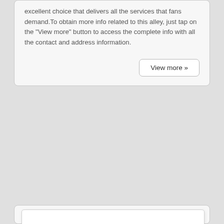excellent choice that delivers all the services that fans demand.To obtain more info related to this alley, just tap on the "View more" button to access the complete info with all the contact and address information.
View more »
[Figure (other): A white card/panel area below the main text card, showing an empty white content box with a light shadow, indicating a placeholder or loading area.]